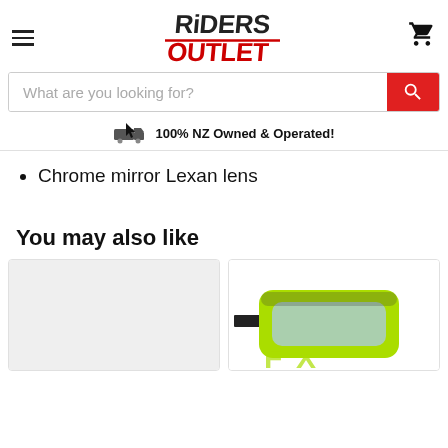[Figure (logo): Riders Outlet logo with stylized text in black and red]
[Figure (screenshot): Search bar with placeholder text 'What are you looking for?' and red search button]
100% NZ Owned & Operated!
Chrome mirror Lexan lens
You may also like
[Figure (photo): Product card with light grey placeholder background]
[Figure (photo): Product card showing a green/yellow motocross goggle with Fox branding]